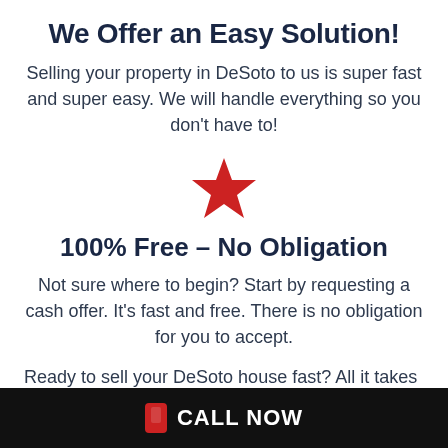We Offer an Easy Solution!
Selling your property in DeSoto to us is super fast and super easy. We will handle everything so you don't have to!
[Figure (illustration): A large red star icon centered on the page]
100% Free – No Obligation
Not sure where to begin? Start by requesting a cash offer. It's fast and free. There is no obligation for you to accept.
Ready to sell your DeSoto house fast? All it takes is two minutes to request a cash offer
CALL NOW